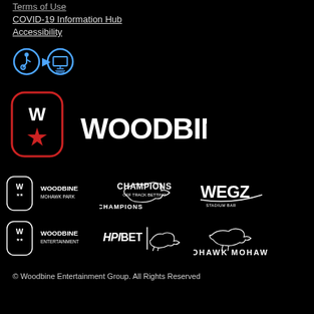Terms of Use
COVID-19 Information Hub
Accessibility
[Figure (logo): Accessibility icons: wheelchair accessible with computer symbol]
[Figure (logo): Woodbine main logo - W icon with star in red oval and WOODBINE wordmark in white]
[Figure (logo): Woodbine Mohawk Park logo]
[Figure (logo): Champions Off Track Betting logo]
[Figure (logo): WEGZ Stadium Bar logo]
[Figure (logo): Woodbine Entertainment logo]
[Figure (logo): HPIBet logo with horse]
[Figure (logo): Mohawk logo with horse]
© Woodbine Entertainment Group. All Rights Reserved